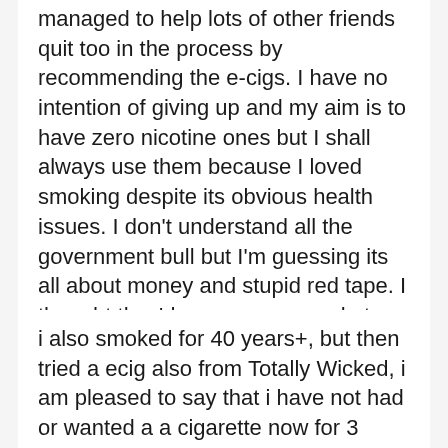managed to help lots of other friends quit too in the process by recommending the e-cigs. I have no intention of giving up and my aim is to have zero nicotine ones but I shall always use them because I loved smoking despite its obvious health issues. I don't understand all the government bull but I'm guessing its all about money and stupid red tape. I thought they'd encourage people to find alternatives to tobacco but no. I support & will do all I can to help to keep things exactly as they are.
i also smoked for 40 years+, but then tried a ecig also from Totally Wicked, i am pleased to say that i have not had or wanted a a cigarette now for 3 years and 10 days, but i want to stree that if this stupid ruling comes to